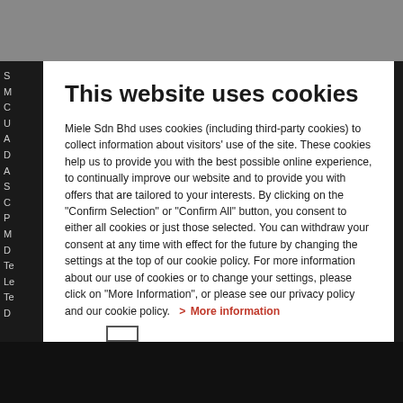This website uses cookies
Miele Sdn Bhd uses cookies (including third-party cookies) to collect information about visitors' use of the site. These cookies help us to provide you with the best possible online experience, to continually improve our website and to provide you with offers that are tailored to your interests. By clicking on the "Confirm Selection" or "Confirm All" button, you consent to either all cookies or just those selected. You can withdraw your consent at any time with effect for the future by changing the settings at the top of our cookie policy. For more information about our use of cookies or to change your settings, please click on "More Information", or please see our privacy policy and our cookie policy.  > More information